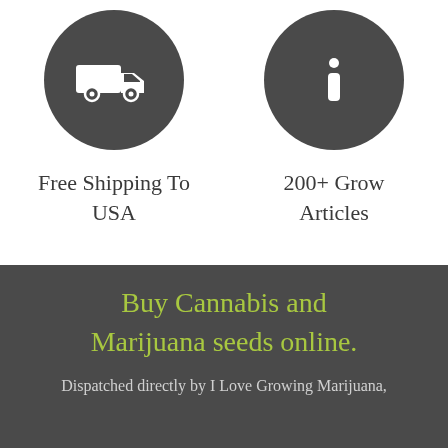[Figure (infographic): Dark gray circular icon with a white delivery truck silhouette]
Free Shipping To USA
[Figure (infographic): Dark gray circular icon with a white information (i) symbol]
200+ Grow Articles
Buy Cannabis and Marijuana seeds online.
Dispatched directly by I Love Growing Marijuana,